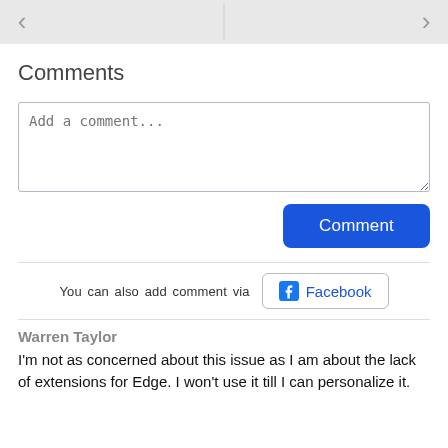[Figure (screenshot): Top gray navigation bar with left and right arrows and a vertical divider in the center]
Comments
Add a comment...
Comment
You can also add comment via Facebook
Warren Taylor
I'm not as concerned about this issue as I am about the lack of extensions for Edge. I won't use it till I can personalize it.